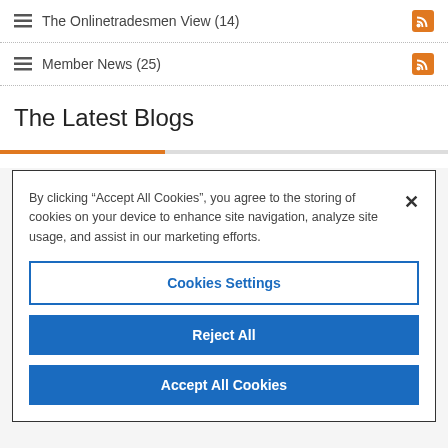The Onlinetradesmen View (14)
Member News (25)
The Latest Blogs
By clicking “Accept All Cookies”, you agree to the storing of cookies on your device to enhance site navigation, analyze site usage, and assist in our marketing efforts.
Cookies Settings
Reject All
Accept All Cookies